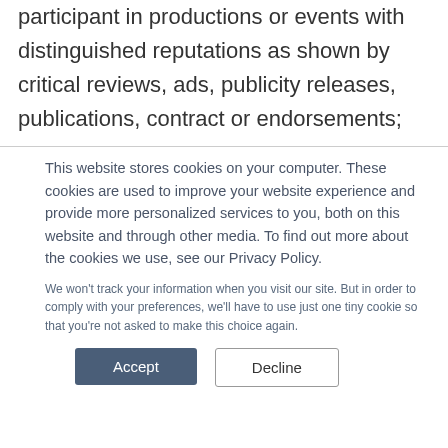participant in productions or events with distinguished reputations as shown by critical reviews, ads, publicity releases, publications, contract or endorsements;
This website stores cookies on your computer. These cookies are used to improve your website experience and provide more personalized services to you, both on this website and through other media. To find out more about the cookies we use, see our Privacy Policy.
We won't track your information when you visit our site. But in order to comply with your preferences, we'll have to use just one tiny cookie so that you're not asked to make this choice again.
Accept
Decline